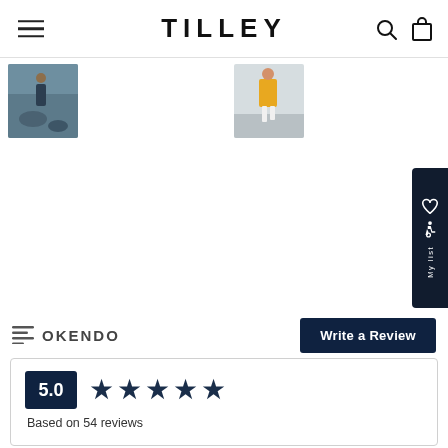TILLEY
[Figure (photo): Thumbnail photo of person outdoors near rocky stream]
[Figure (photo): Thumbnail photo of person in yellow outfit walking on beach/rocky area]
[Figure (other): My list side tab with heart icon, wheelchair accessibility icon, and 'My list' text]
OKENDO
Write a Review
5.0
Based on 54 reviews